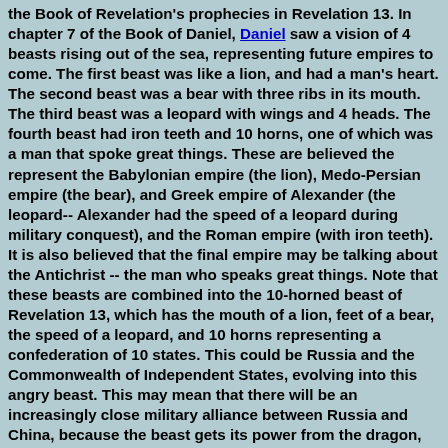the Book of Revelation's prophecies in Revelation 13. In chapter 7 of the Book of Daniel, Daniel saw a vision of 4 beasts rising out of the sea, representing future empires to come. The first beast was like a lion, and had a man's heart. The second beast was a bear with three ribs in its mouth. The third beast was a leopard with wings and 4 heads. The fourth beast had iron teeth and 10 horns, one of which was a man that spoke great things. These are believed the represent the Babylonian empire (the lion), Medo-Persian empire (the bear), and Greek empire of Alexander (the leopard-- Alexander had the speed of a leopard during military conquest), and the Roman empire (with iron teeth). It is also believed that the final empire may be talking about the Antichrist -- the man who speaks great things. Note that these beasts are combined into the 10-horned beast of Revelation 13, which has the mouth of a lion, feet of a bear, the speed of a leopard, and 10 horns representing a confederation of 10 states. This could be Russia and the Commonwealth of Independent States, evolving into this angry beast. This may mean that there will be an increasingly close military alliance between Russia and China, because the beast gets its power from the dragon, which would be Red China. Note that Russia is selling some of its best military weapons to China, including ships, submarines, radar systems, and jet planes, and Russia is also selling nuclear power plants and missles to Iran.